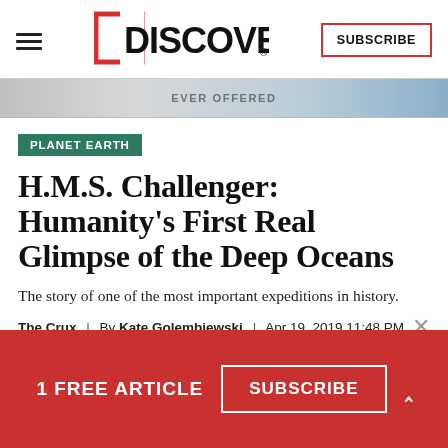DISCOVER — SUBSCRIBE
[Figure (photo): Partial banner image strip with text 'EVER OFFERED' visible]
PLANET EARTH
H.M.S. Challenger: Humanity's First Real Glimpse of the Deep Oceans
The story of one of the most important expeditions in history.
The Crux  |  By Kate Golembiewski  |  Apr 19, 2019 11:48 PM
1 FREE ARTICLE   SUBSCRIBE